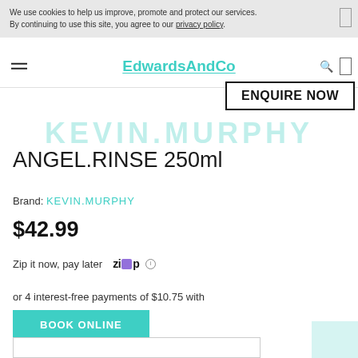We use cookies to help us improve, promote and protect our services. By continuing to use this site, you agree to our privacy policy.
EdwardsAndCo
ENQUIRE NOW
KEVIN.MURPHY
ANGEL.RINSE 250ml
Brand: KEVIN.MURPHY
$42.99
Zip it now, pay later
or 4 interest-free payments of $10.75 with
BOOK ONLINE